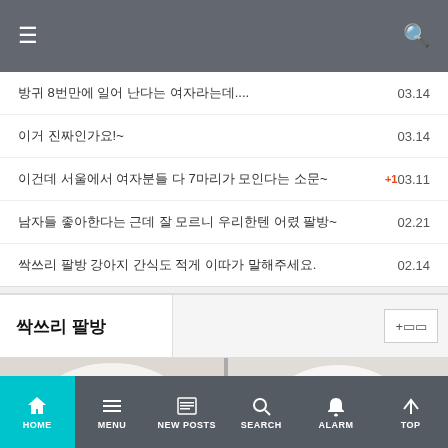싹쓰리 팔방 (Korean community app header)
방귀 8번만에 일어 난다는 여자라는데....   03.14
이거 진짜인가요!~   03.14
이건데 서울에서 여자분들 다 7마리가 모인다는 소문~  +1  03.11
남자들 좋아한다는 근데 잘 모르니 우리한텐 어렸 팔방~  02.21
싹쓰리 팔방 강아지 간식도 적게 이따가 말해주세요.  02.14
싹쓰리 팔방
[Figure (photo): Two side-by-side photos of a person wearing a white outfit, cropped]
HOME  MENU  NEW POSTS  SEARCH  ALARM  TOP